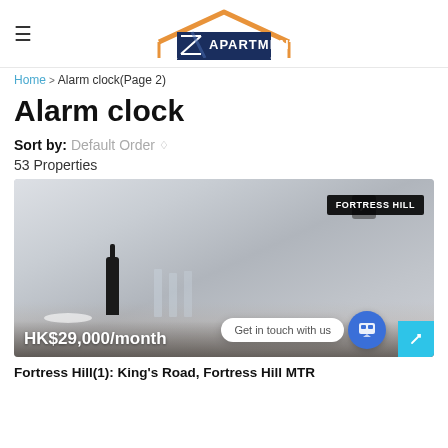Z APARTMENT — SERVICED APARTMENT HONG KONG
Home > Alarm clock(Page 2)
Alarm clock
Sort by: Default Order
53 Properties
[Figure (photo): Apartment interior photo showing a table set with dishes, wine bottle, and glasses, with a 'FORTRESS HILL' location badge. Price overlay shows HK$29,000/month. A chat widget reads 'Get in touch with us'.]
Fortress Hill(1): King's Road, Fortress Hill MTR